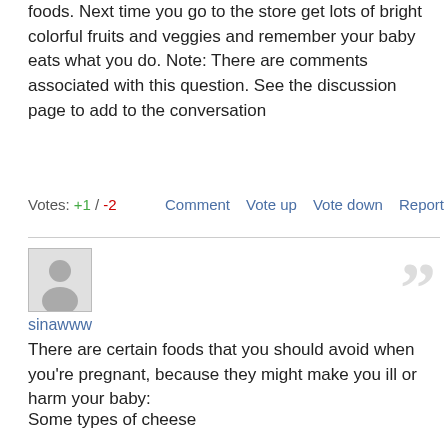foods. Next time you go to the store get lots of bright colorful fruits and veggies and remember your baby eats what you do. Note: There are comments associated with this question. See the discussion page to add to the conversation
Votes: +1 / -2   Comment   Vote up   Vote down   Report
sinawww
There are certain foods that you should avoid when you're pregnant, because they might make you ill or harm your baby:
Some types of cheese
Avoid cheeses such as Camembert, Brie or chevre (a type of goats' cheese), or others that have a similar rind. You should also avoid soft blue cheeses.
These cheeses are made with mould and they can contain listeria, a type of bacteria that could harm your unborn baby.